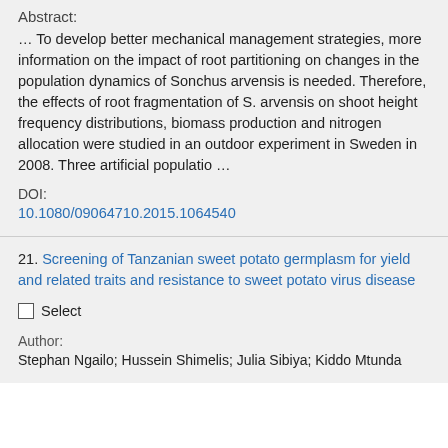Abstract:
… To develop better mechanical management strategies, more information on the impact of root partitioning on changes in the population dynamics of Sonchus arvensis is needed. Therefore, the effects of root fragmentation of S. arvensis on shoot height frequency distributions, biomass production and nitrogen allocation were studied in an outdoor experiment in Sweden in 2008. Three artificial populatio …
DOI:
10.1080/09064710.2015.1064540
21. Screening of Tanzanian sweet potato germplasm for yield and related traits and resistance to sweet potato virus disease
Select
Author:
Stephan Ngailo; Hussein Shimelis; Julia Sibiya; Kiddo Mtunda